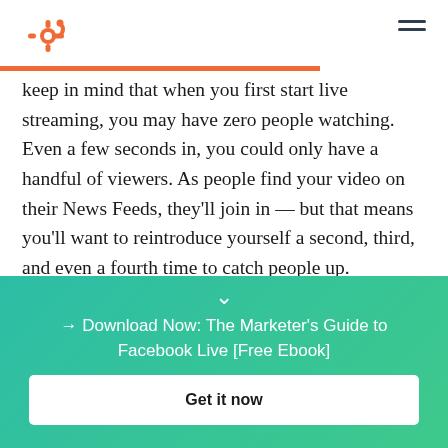HubSpot logo and navigation
keep in mind that when you first start live streaming, you may have zero people watching. Even a few seconds in, you could only have a handful of viewers. As people find your video on their News Feeds, they'll join in — but that means you'll want to reintroduce yourself a second, third, and even a fourth time to catch people up.
[Figure (other): Teal/green gradient call-to-action banner with chevron icon, text '→ Download Now: The Marketer's Guide to Facebook Live [Free Ebook]' and a white 'Get it now' button]